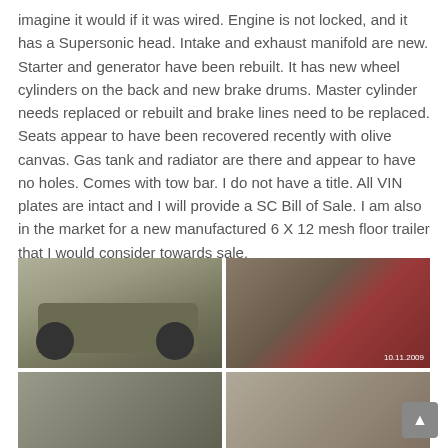imagine it would if it was wired. Engine is not locked, and it has a Supersonic head. Intake and exhaust manifold are new. Starter and generator have been rebuilt. It has new wheel cylinders on the back and new brake drums. Master cylinder needs replaced or rebuilt and brake lines need to be replaced. Seats appear to have been recovered recently with olive canvas. Gas tank and radiator are there and appear to have no holes. Comes with tow bar. I do not have a title. All VIN plates are intact and I will provide a SC Bill of Sale. I am also in the market for a new manufactured 6 X 12 mesh floor trailer that I would consider towards sale.
[Figure (photo): Military olive green jeep parked inside a garage or building, front three-quarter view]
[Figure (photo): Engine bay showing a red engine block with spark plugs visible, dated 10.11.2009]
[Figure (photo): Various jeep parts and components laid out on a floor, including what appears to be a tow bar and other mechanical parts]
[Figure (photo): Interior of the jeep showing olive canvas covered seats]